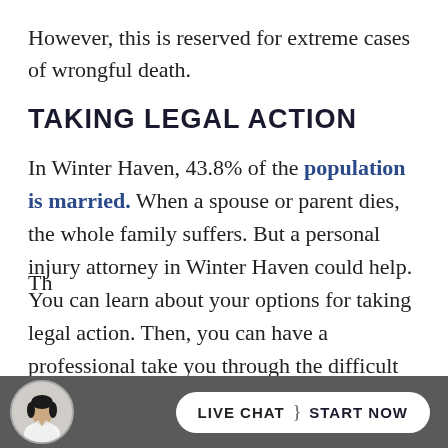However, this is reserved for extreme cases of wrongful death.
TAKING LEGAL ACTION
In Winter Haven, 43.8% of the population is married. When a spouse or parent dies, the whole family suffers. But a personal injury attorney in Winter Haven could help. You can learn about your options for taking legal action. Then, you can have a professional take you through the difficult process.
Th
[Figure (photo): Circular avatar photo of a woman in a white top against a light background]
LIVE CHAT > START NOW